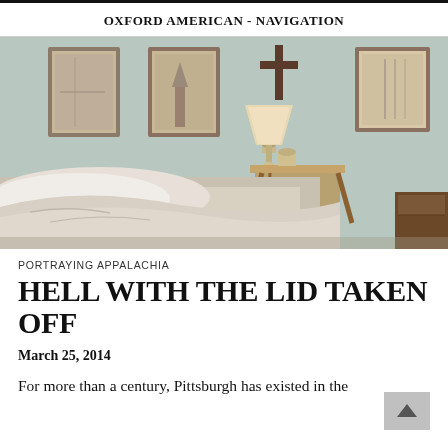OXFORD AMERICAN - NAVIGATION
[Figure (photo): Interior room photograph showing a bed with rumpled white linens, a bedside table with a lamp, a wooden bench, a cross on the wall, and framed pictures hanging on a pale blue-green wall.]
PORTRAYING APPALACHIA
HELL WITH THE LID TAKEN OFF
March 25, 2014
For more than a century, Pittsburgh has existed in the